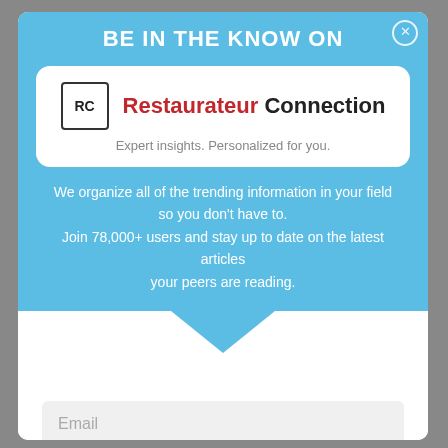BE IN THE KNOW ON
[Figure (logo): RC logo — square with 'RC' text inside a bordered rectangle]
Restaurateur Connection
Expert insights. Personalized for you.
We organize all of the trending information in your field so you don't have to. Join 78,000+ users and stay up to date on the latest articles your peers are reading.
Email
Sign Up